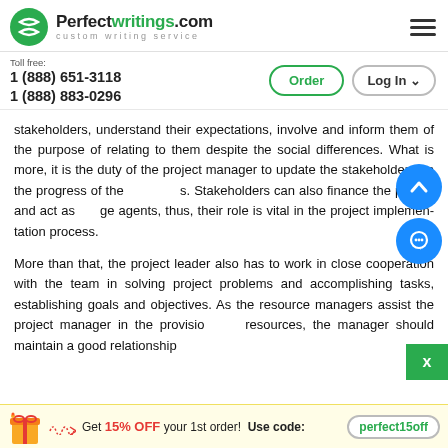Perfectwritings.com — custom writing service
Toll free: 1 (888) 651-3118 / 1 (888) 883-0296
stakeholders, understand their expectations, involve and inform them of the purpose of relating to them despite the social differences. What is more, it is the duty of the project manager to update the stakeholders on the progress of the project. Stakeholders can also finance the project and act as change agents, thus, their role is vital in the project implementation process.
More than that, the project leader also has to work in close cooperation with the team in solving project problems and accomplishing tasks, establishing goals and objectives. As the resource managers assist the project manager in the provision of resources, the manager should maintain a good relationship
Get 15% OFF your 1st order! Use code: perfect15off